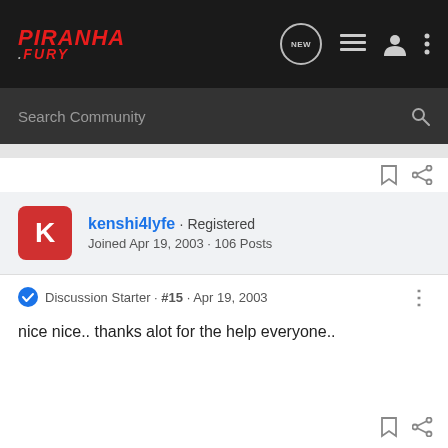PIRANHA .FURY
Search Community
kenshi4lyfe · Registered
Joined Apr 19, 2003 · 106 Posts
Discussion Starter · #15 · Apr 19, 2003
nice nice.. thanks alot for the help everyone..